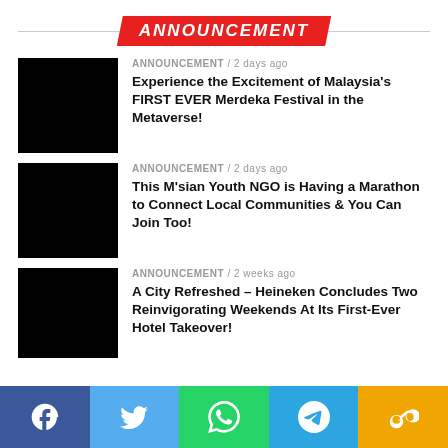ANNOUNCEMENT
ANNOUNCEMENT / 2 days ago
Experience the Excitement of Malaysia's FIRST EVER Merdeka Festival in the Metaverse!
ANNOUNCEMENT / 2 days ago
This M'sian Youth NGO is Having a Marathon to Connect Local Communities & You Can Join Too!
ANNOUNCEMENT / 2 weeks ago
A City Refreshed – Heineken Concludes Two Reinvigorating Weekends At Its First-Ever Hotel Takeover!